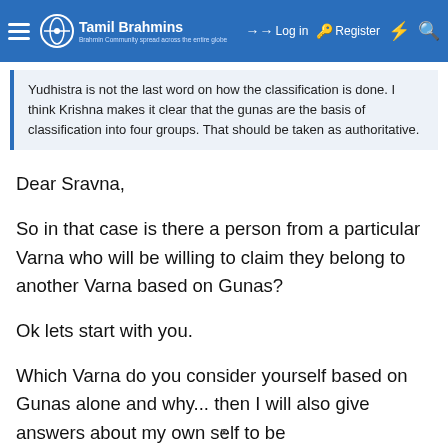Tamil Brahmins — Log in | Register
Yudhistra is not the last word on how the classification is done. I think Krishna makes it clear that the gunas are the basis of classification into four groups. That should be taken as authoritative.
Dear Sravna,
So in that case is there a person from a particular Varna who will be willing to claim they belong to another Varna based on Gunas?
Ok lets start with you.
Which Varna do you consider yourself based on Gunas alone and why... then I will also give answers about my own self to be
×